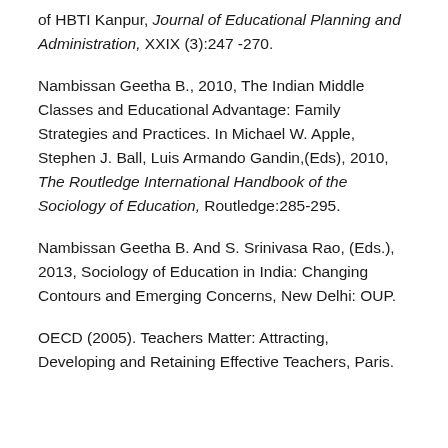of HBTI Kanpur, Journal of Educational Planning and Administration, XXIX (3):247 -270.
Nambissan Geetha B., 2010, The Indian Middle Classes and Educational Advantage: Family Strategies and Practices. In Michael W. Apple, Stephen J. Ball, Luis Armando Gandin,(Eds), 2010, The Routledge International Handbook of the Sociology of Education, Routledge:285-295.
Nambissan Geetha B. And S. Srinivasa Rao, (Eds.), 2013, Sociology of Education in India: Changing Contours and Emerging Concerns, New Delhi: OUP.
OECD (2005). Teachers Matter: Attracting, Developing and Retaining Effective Teachers, Paris.